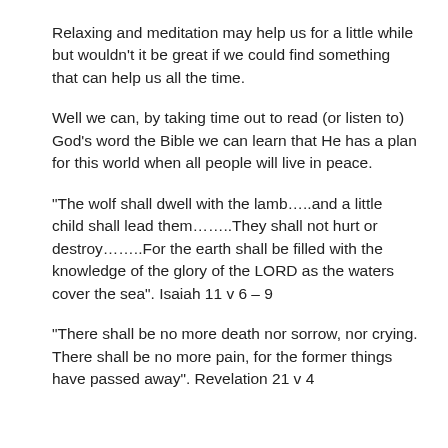Relaxing and meditation may help us for a little while but wouldn't it be great if we could find something that can help us all the time.
Well we can, by taking time out to read (or listen to) God's word the Bible we can learn that He has a plan for this world when all people will live in peace.
“The wolf shall dwell with the lamb…..and a little child shall lead them…….They shall not hurt or destroy…….For the earth shall be filled with the knowledge of the glory of the LORD as the waters cover the sea”. Isaiah 11 v 6 – 9
“There shall be no more death nor sorrow, nor crying. There shall be no more pain, for the former things have passed away”. Revelation 21 v 4